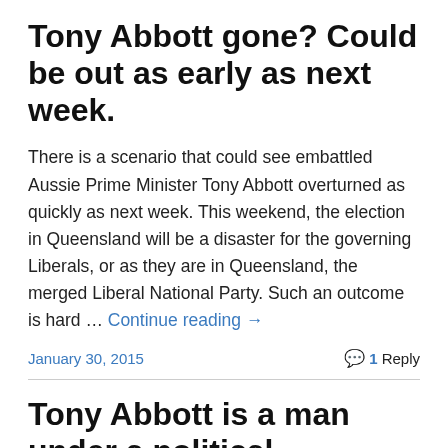Tony Abbott gone? Could be out as early as next week.
There is a scenario that could see embattled Aussie Prime Minister Tony Abbott overturned as quickly as next week. This weekend, the election in Queensland will be a disaster for the governing Liberals, or as they are in Queensland, the merged Liberal National Party. Such an outcome is hard … Continue reading →
January 30, 2015    1 Reply
Tony Abbott is a man under a political sentence of death. The only issue is if and when